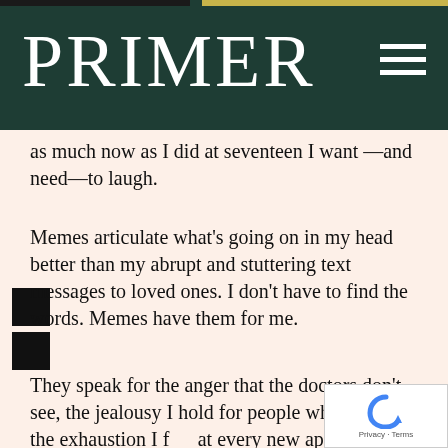PRIMER
as much now as I did at seventeen I want —and need—to laugh.
Memes articulate what's going on in my head better than my abrupt and stuttering text messages to loved ones. I don't have to find the words. Memes have them for me.
They speak for the anger that the doctors don't see, the jealousy I hold for people who are well, the exhaustion I feel at every new appointment and every new symptom and every new dismissal by